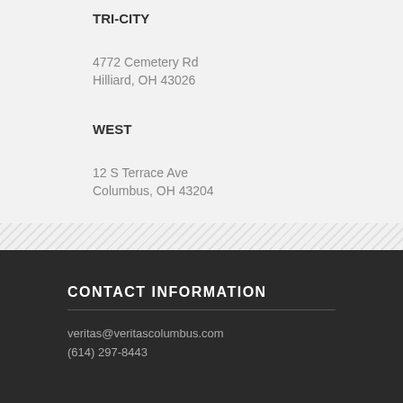TRI-CITY
4772 Cemetery Rd
Hilliard, OH 43026
WEST
12 S Terrace Ave
Columbus, OH 43204
CONTACT INFORMATION
veritas@veritascolumbus.com
(614) 297-8443